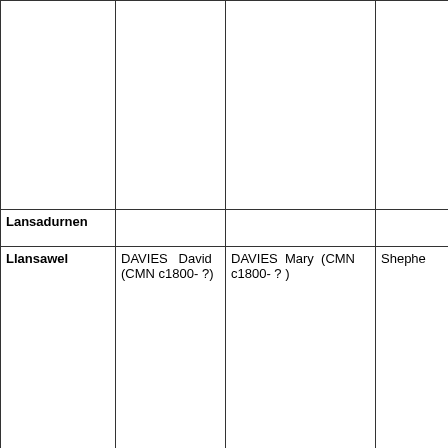|  |  |  |  |
| Lansadurnen |  |  |  |
| Llansawel | DAVIES David (CMN c1800- ?) | DAVIES Mary (CMN c1800- ? ) | Shephe... |
| Llanstephan | JAMES William | JONES Hannah | coalmin... |